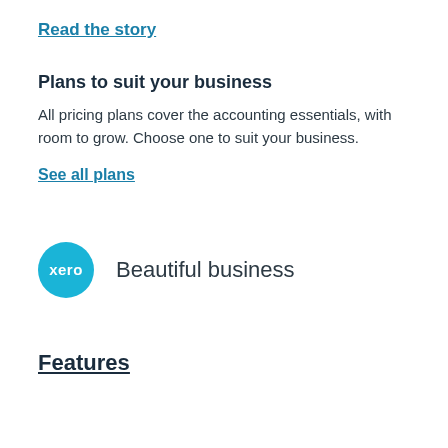Read the story
Plans to suit your business
All pricing plans cover the accounting essentials, with room to grow. Choose one to suit your business.
See all plans
[Figure (logo): Xero logo: blue circle with white 'xero' text, followed by 'Beautiful business' tagline]
Features